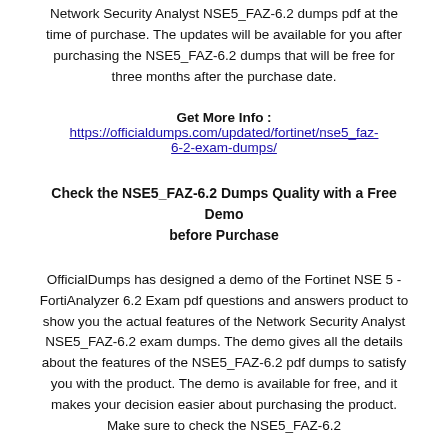Network Security Analyst NSE5_FAZ-6.2 dumps pdf at the time of purchase. The updates will be available for you after purchasing the NSE5_FAZ-6.2 dumps that will be free for three months after the purchase date.
Get More Info : https://officialdumps.com/updated/fortinet/nse5_faz-6-2-exam-dumps/
Check the NSE5_FAZ-6.2 Dumps Quality with a Free Demo before Purchase
OfficialDumps has designed a demo of the Fortinet NSE 5 - FortiAnalyzer 6.2 Exam pdf questions and answers product to show you the actual features of the Network Security Analyst NSE5_FAZ-6.2 exam dumps. The demo gives all the details about the features of the NSE5_FAZ-6.2 pdf dumps to satisfy you with the product. The demo is available for free, and it makes your decision easier about purchasing the product. Make sure to check the NSE5_FAZ-6.2